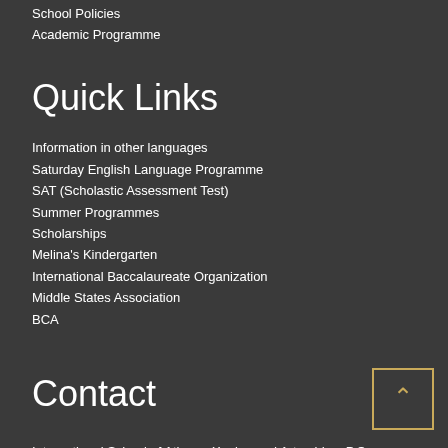School Policies
Academic Programme
Quick Links
Information in other languages
Saturday English Language Programme
SAT (Scholastic Assessment Test)
Summer Programmes
Scholarships
Melina's Kindergarten
International Baccalaureate Organization
Middle States Association
BCA
Contact
International School of Athens, Xenias and Artemidos, P.O.